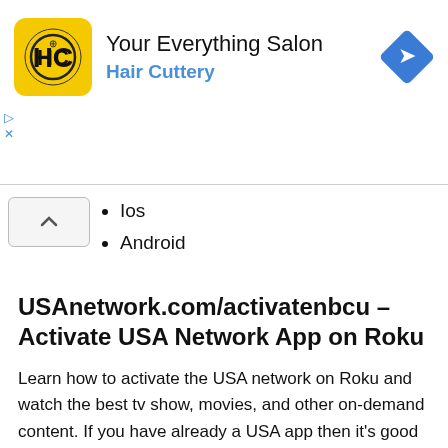[Figure (logo): Hair Cuttery advertisement banner with yellow HC logo, title 'Your Everything Salon', subtitle 'Hair Cuttery' in blue, and a blue diamond navigation arrow icon on the right]
Ios
Android
USAnetwork.com/activatenbcu – Activate USA Network App on Roku
Learn how to activate the USA network on Roku and watch the best tv show, movies, and other on-demand content. If you have already a USA app then it’s good otherwise first you need to get the app on a Roku device.